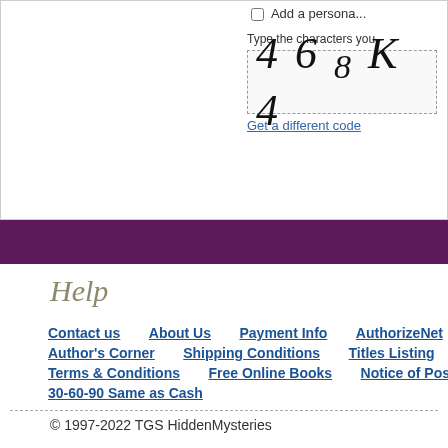[Figure (screenshot): CAPTCHA verification area with checkbox 'Add a personal...', text 'Type the characters you', a CAPTCHA image showing '4 6 8 K 4', and a 'Get a different code' link]
Help
Contact us    About Us    Payment Info    AuthorizeNet    PayPal
Author's Corner    Shipping Conditions    Titles Listing    Listing b
Terms & Conditions    Free Online Books    Notice of Postal Increase
30-60-90 Same as Cash
© 1997-2022 TGS HiddenMysteries